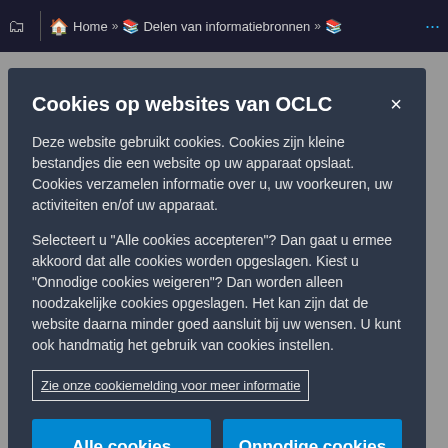Home » Delen van informatiebronnen »
interface.
5. Click Save.
[Figure (screenshot): Cookie consent modal dialog on an OCLC website with dark blue/slate background. Title: 'Cookies op websites van OCLC'. Body text explains cookies and user choices. A link 'Zie onze cookiemelding voor meer informatie' in a bordered box. Two blue buttons: 'Alle cookies accepteren' and 'Onnodige cookies weigeren'. Close button (×) in top right.]